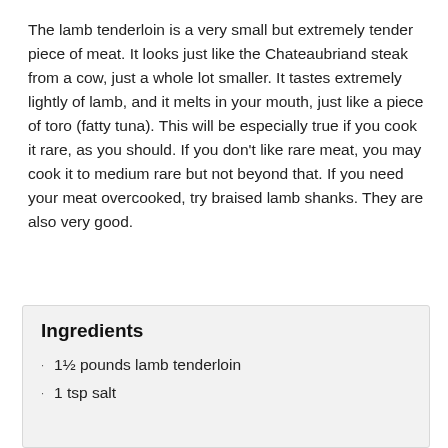The lamb tenderloin is a very small but extremely tender piece of meat. It looks just like the Chateaubriand steak from a cow, just a whole lot smaller. It tastes extremely lightly of lamb, and it melts in your mouth, just like a piece of toro (fatty tuna). This will be especially true if you cook it rare, as you should. If you don't like rare meat, you may cook it to medium rare but not beyond that. If you need your meat overcooked, try braised lamb shanks. They are also very good.
Ingredients
1½ pounds lamb tenderloin
1 tsp salt